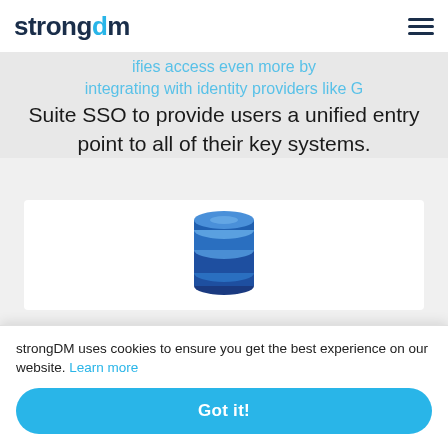strongdm (logo) — navigation bar with hamburger menu
G Suite SSO
...ifies access even more by integrating with identity providers like G Suite SSO to provide users a unified entry point to all of their key systems.
[Figure (illustration): DynamoDB logo icon — a blue stacked-cylinder database icon]
DynamoDB
Dy... ...m of ...ue
strongDM uses cookies to ensure you get the best experience on our website. Learn more — Got it! button